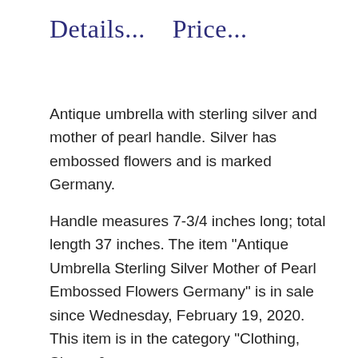Details...    Price...
Antique umbrella with sterling silver and mother of pearl handle. Silver has embossed flowers and is marked Germany.
Handle measures 7-3/4 inches long; total length 37 inches. The item "Antique Umbrella Sterling Silver Mother of Pearl Embossed Flowers Germany" is in sale since Wednesday, February 19, 2020. This item is in the category "Clothing, Shoes & Accessories\Specialty\Vintage\Vintage Accessories\Umbrellas & Parasols". The seller is "pissy7116" and is located in Marshall, Michigan. This item can be shipped to United States, Canada, United Kingdom, Denmark, Romania, Slovakia, Bulgaria, Czech republic, Finland, Hungary, Latvia, Lithuania, Malta, Estonia, Australia, Greece, Portugal, Cyprus, Slovenia